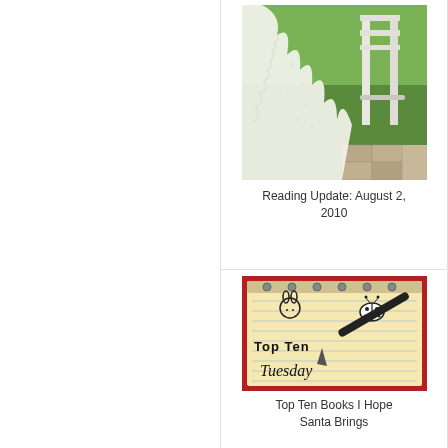[Figure (photo): Photo of white lace fabric draped over a wooden chair outdoors on grass]
Reading Update: August 2, 2010
[Figure (photo): Photo of a notepad with 'Top Ten Tuesday' written on it with cute doodles and a pen]
Top Ten Books I Hope Santa Brings